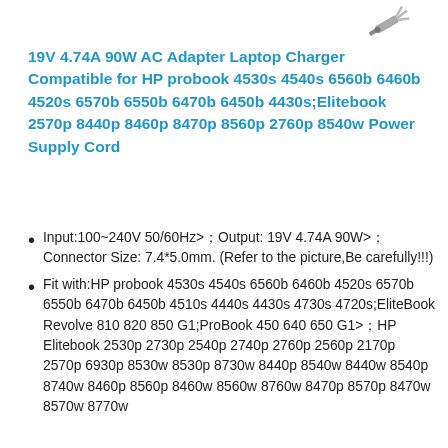[Figure (photo): Product image of a laptop charger/AC adapter connector tip at the top right corner of the page.]
19V 4.74A 90W AC Adapter Laptop Charger Compatible for HP probook 4530s 4540s 6560b 6460b 4520s 6570b 6550b 6470b 6450b 4430s;Elitebook 2570p 8440p 8460p 8470p 8560p 2760p 8540w Power Supply Cord
Input:100~240V 50/60Hz；Output: 19V 4.74A 90W；Connector Size: 7.4*5.0mm. (Refer to the picture,Be carefully!!!)
Fit with:HP probook 4530s 4540s 6560b 6460b 4520s 6570b 6550b 6470b 6450b 4510s 4440s 4430s 4730s 4720s;EliteBook Revolve 810 820 850 G1;ProBook 450 640 650 G1；HP Elitebook 2530p 2730p 2540p 2740p 2760p 2560p 2170p 2570p 6930p 8530w 8530p 8730w 8440p 8540w 8440w 8540p 8740w 8460p 8560p 8460w 8560w 8760w 8470p 8570p 8470w 8570w 8770w